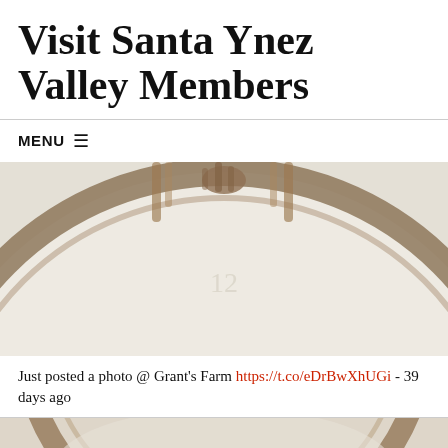Visit Santa Ynez Valley Members
MENU ≡
[Figure (photo): Blurred close-up photograph of a clock face with a bronze/brown circular frame, showing the upper arc of the clock rim with chandelier-like decorative elements visible at the top center. Clock face appears white/cream with faint numerals.]
Just posted a photo @ Grant's Farm https://t.co/eDrBwXhUGi - 39 days ago
[Figure (photo): Partial blurred photograph of another clock or circular object, showing only the top portion at the bottom of the page.]